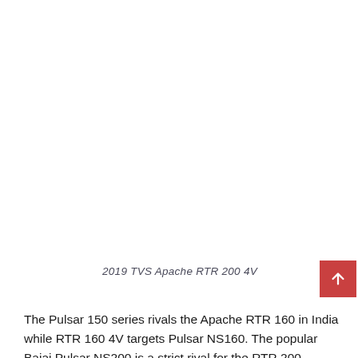[Figure (photo): White/blank image area representing a photo of the 2019 TVS Apache RTR 200 4V motorcycle]
2019 TVS Apache RTR 200 4V
The Pulsar 150 series rivals the Apache RTR 160 in India while RTR 160 4V targets Pulsar NS160. The popular Bajaj Pulsar NS200 is a strict rival for the RTR 200. Apache RR 310 is an exclusive option